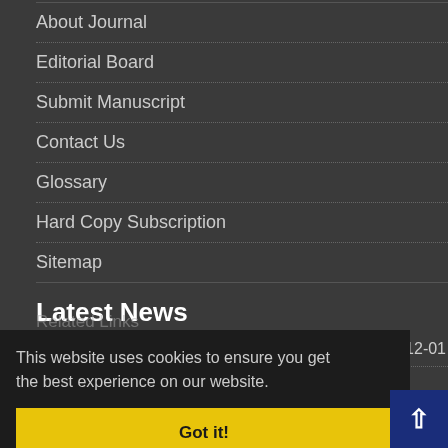About Journal
Editorial Board
Submit Manuscript
Contact Us
Glossary
Hard Copy Subscription
Sitemap
Latest News
Royan International E-Summer School (2020) 2020-12-01
This website uses cookies to ensure you get the best experience on our website.
Got it!
ACECR
Royan Educate...
Royan Institute